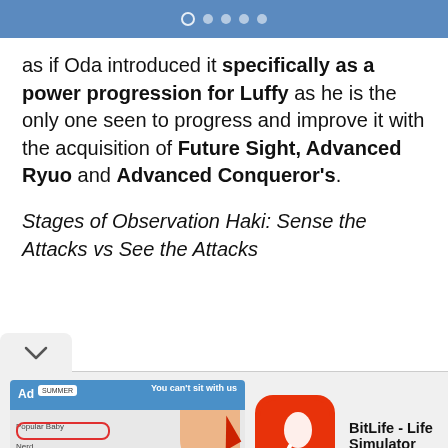navigation dots indicator
as if Oda introduced it specifically as a power progression for Luffy as he is the only one seen to progress and improve it with the acquisition of Future Sight, Advanced Ryuo and Advanced Conqueror's.
Stages of Observation Haki: Sense the Attacks vs See the Attacks
[Figure (screenshot): Advertisement for BitLife - Life Simulator app with ad banner image and INSTALL button]